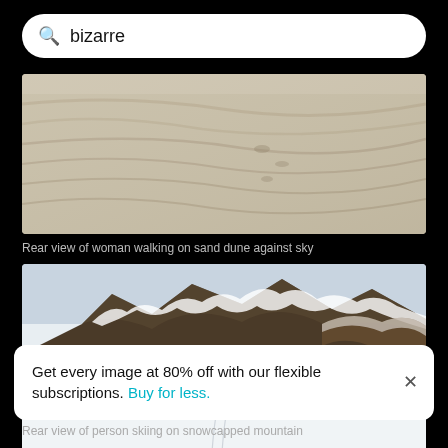bizarre
[Figure (photo): Aerial or close-up view of sand dune patterns, showing rippling sandy texture in warm beige tones]
Rear view of woman walking on sand dune against sky
[Figure (photo): A lone skier on a vast snowfield with rocky snow-capped mountain ridges in the background, under a pale blue sky]
Get every image at 80% off with our flexible subscriptions. Buy for less.
Rear view of person skiing on snowcapped mountain